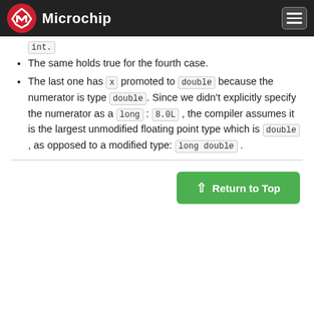Microchip
int.
The same holds true for the fourth case.
The last one has x promoted to double because the numerator is type double. Since we didn't explicitly specify the numerator as a long : 8.0L , the compiler assumes it is the largest unmodified floating point type which is double , as opposed to a modified type: long double .